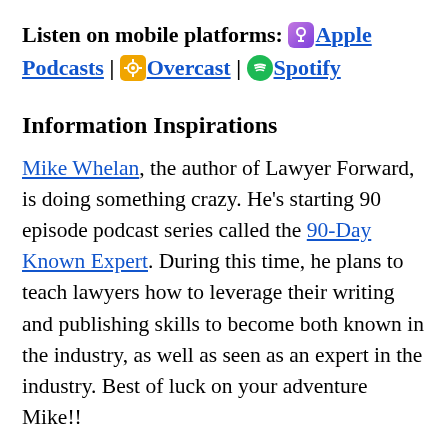Listen on mobile platforms: Apple Podcasts | Overcast | Spotify
Information Inspirations
Mike Whelan, the author of Lawyer Forward, is doing something crazy. He's starting 90 episode podcast series called the 90-Day Known Expert. During this time, he plans to teach lawyers how to leverage their writing and publishing skills to become both known in the industry, as well as seen as an expert in the industry. Best of luck on your adventure Mike!!
Professor Bill Henderson lays out a two-part series that wants to turn law firms away from their Rainmaker model into a team model. It worked for Goldman Sachs, why not for BigLaw? (Part One, Part